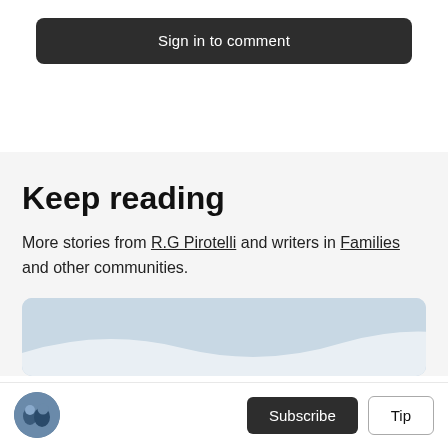Sign in to comment
Keep reading
More stories from R.G Pirotelli and writers in Families and other communities.
[Figure (photo): Light blue article preview image with a wavy white arc at the bottom]
[Figure (photo): Small circular avatar photo of two people outdoors]
Subscribe
Tip